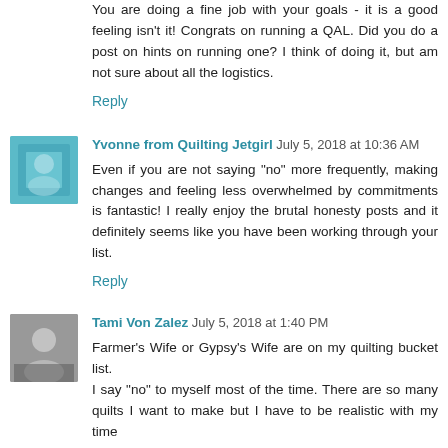You are doing a fine job with your goals - it is a good feeling isn't it! Congrats on running a QAL. Did you do a post on hints on running one? I think of doing it, but am not sure about all the logistics.
Reply
Yvonne from Quilting Jetgirl  July 5, 2018 at 10:36 AM
Even if you are not saying "no" more frequently, making changes and feeling less overwhelmed by commitments is fantastic! I really enjoy the brutal honesty posts and it definitely seems like you have been working through your list.
Reply
Tami Von Zalez  July 5, 2018 at 1:40 PM
Farmer's Wife or Gypsy's Wife are on my quilting bucket list.
I say "no" to myself most of the time. There are so many quilts I want to make but I have to be realistic with my time